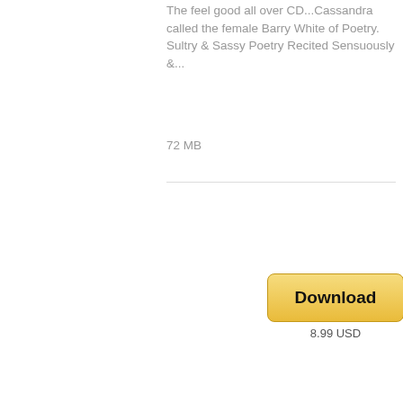The feel good all over CD...Cassandra called the female Barry White of Poetry. Sultry & Sassy Poetry Recited Sensuously &...
72 MB
[Figure (other): Download button with golden gradient, labeled 'Download', price '8.99 USD' below]
[Figure (illustration): Product thumbnail showing a purple eye with eyelashes on white background, with 'no thumbnail available' text overlay]
Mp3 Various Artists - Tallgrass Writers Guild: The Sounds Of Tallgrass Feat. Keenan Baxter
Spoken word pieces w/original musical